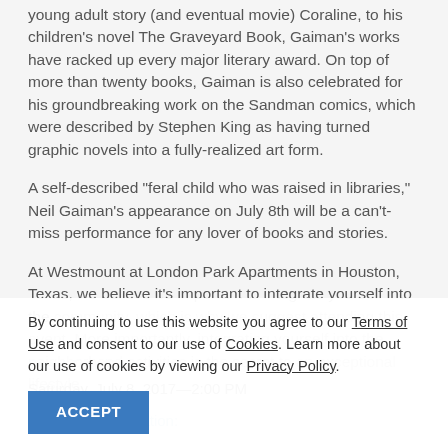young adult story (and eventual movie) Coraline, to his children's novel The Graveyard Book, Gaiman's works have racked up every major literary award. On top of more than twenty books, Gaiman is also celebrated for his groundbreaking work on the Sandman comics, which were described by Stephen King as having turned graphic novels into a fully-realized art form.
A self-described "feral child who was raised in libraries," Neil Gaiman's appearance on July 8th will be a can't-miss performance for any lover of books and stories.
At Westmount at London Park Apartments in Houston, Texas, we believe it's important to integrate yourself into the community, which is why we suggest attending this event. More importantly, integrating yourself into the neighborhood activities is the secret to an exceptional lifestyle.
By continuing to use this website you agree to our Terms of Use and consent to our use of Cookies. Learn more about our use of cookies by viewing our Privacy Policy.
ACCEPT
Event Time/Date:
Saturday, July 8, 2017—2:00 PM
Event Venue Location: